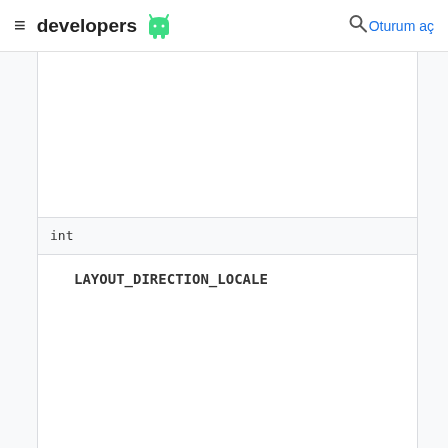developers | Oturum aç
| int | LAYOUT_DIRECTION_LOCALE |
| int | LAYOUT_DIRECTION_LTR |